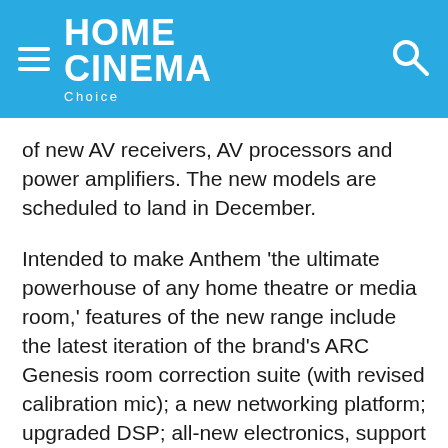HOME CINEMA Choice
of new AV receivers, AV processors and power amplifiers. The new models are scheduled to land in December.
Intended to make Anthem 'the ultimate powerhouse of any home theatre or media room,' features of the new range include the latest iteration of the brand's ARC Genesis room correction suite (with revised calibration mic); a new networking platform; upgraded DSP; all-new electronics, support for IMAX Enhanced; and a new HDMI 2.0 stage with an upgrade path to HDMI 2.1.
Unlike many rivals, Anthem doesn't release new components on a yearly cycle – its last new AV